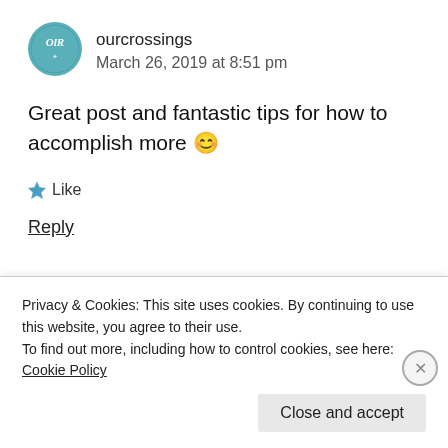[Figure (illustration): Circular teal avatar with 'OLR' text and small decorative element inside]
ourcrossings
March 26, 2019 at 8:51 pm
Great post and fantastic tips for how to accomplish more 😊
★ Like
Reply
[Figure (photo): Small black and white avatar photo thumbnail]
Alexander Richter
Privacy & Cookies: This site uses cookies. By continuing to use this website, you agree to their use.
To find out more, including how to control cookies, see here: Cookie Policy
Close and accept